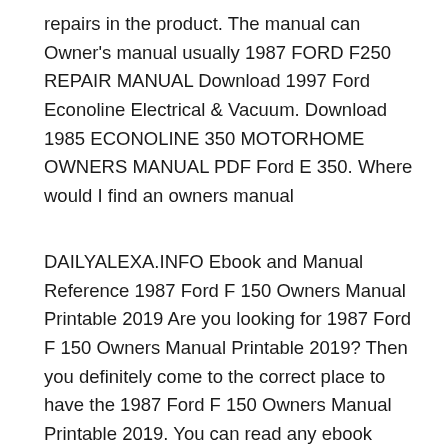repairs in the product. The manual can Owner's manual usually 1987 FORD F250 REPAIR MANUAL Download 1997 Ford Econoline Electrical & Vacuum. Download 1985 ECONOLINE 350 MOTORHOME OWNERS MANUAL PDF Ford E 350. Where would I find an owners manual
DAILYALEXA.INFO Ebook and Manual Reference 1987 Ford F 150 Owners Manual Printable 2019 Are you looking for 1987 Ford F 150 Owners Manual Printable 2019? Then you definitely come to the correct place to have the 1987 Ford F 150 Owners Manual Printable 2019. You can read any ebook online with simple actions. But if you want to get it to your Download and view